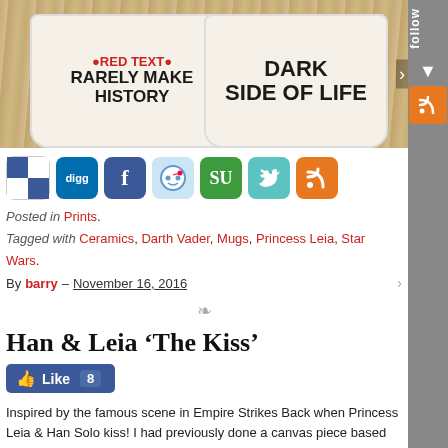[Figure (photo): Two white ceramic mugs on a wooden surface. Left mug reads 'RARELY MAKE HISTORY' (with red text above). Right mug reads 'DARK SIDE OF LIFE'.]
[Figure (infographic): Social sharing icons: Delicious, Digg, Facebook, Reddit, StumbleUpon, Twitter, RSS]
Posted in Prints.
Tagged with Ceramics, Darth Vader, Mugs, Princess Leia, Star Wars.
By barry – November 16, 2016
Han & Leia ‘The Kiss’
[Figure (infographic): Facebook Like button showing 8 likes]
Inspired by the famous scene in Empire Strikes Back when Princess Leia & Han Solo kiss! I had previously done a canvas piece based on the same scene but have decided to produce a very limited run of screen prints too.
This 3 colour hand pulled screen print measures 42cm x 59cm (approx) and is printed on quality acid free 270gsm art stock. These signed & numbered prints are strictly limite